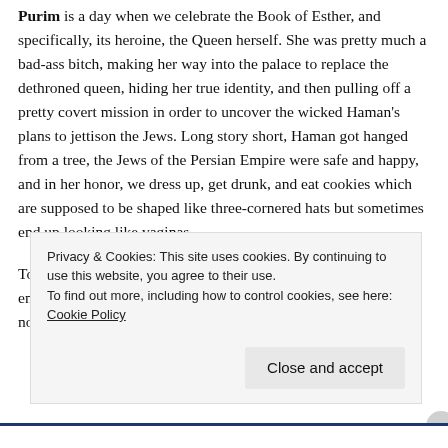Purim is a day when we celebrate the Book of Esther, and specifically, its heroine, the Queen herself. She was pretty much a bad-ass bitch, making her way into the palace to replace the dethroned queen, hiding her true identity, and then pulling off a pretty covert mission in order to uncover the wicked Haman's plans to jettison the Jews. Long story short, Haman got hanged from a tree, the Jews of the Persian Empire were safe and happy, and in her honor, we dress up, get drunk, and eat cookies which are supposed to be shaped like three-cornered hats but sometimes end up looking like vaginas.
To me, feminism means disruption of the status quo in order to ensure a greater good, benefiting a marginalized group. And it's no coincidence that it was a woman-led effort. I mean, what
Privacy & Cookies: This site uses cookies. By continuing to use this website, you agree to their use.
To find out more, including how to control cookies, see here: Cookie Policy